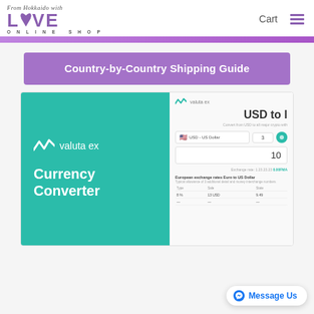From Hokkaido with Love Online Shop — Cart
Country-by-Country Shipping Guide
[Figure (screenshot): Screenshot of Valuta Ex currency converter tool showing USD to other currency conversion interface with input field showing value 3, result showing 10, and a table of European exchange rates from Euro to US Dollar]
Message Us